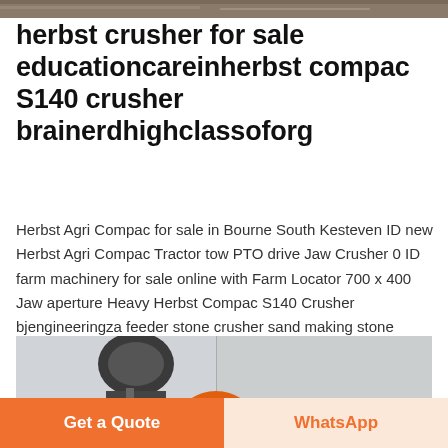[Figure (photo): Partial view of ground/dirt surface at top of page]
herbst crusher for sale educationcareinherbst compac S140 crusher brainerdhighclassoforg
Herbst Agri Compac for sale in Bourne South Kesteven ID new Herbst Agri Compac Tractor tow PTO drive Jaw Crusher 0 ID farm machinery for sale online with Farm Locator 700 x 400 Jaw aperture Heavy Herbst Compac S140 Crusher bjengineeringza feeder stone crusher sand making stone making sand with a small stone crusher drum crusher used for sale herbst compac s140 crusher
[Figure (photo): Machinery/crusher equipment photo at bottom section]
Get Price
Get a Quote | WhatsApp